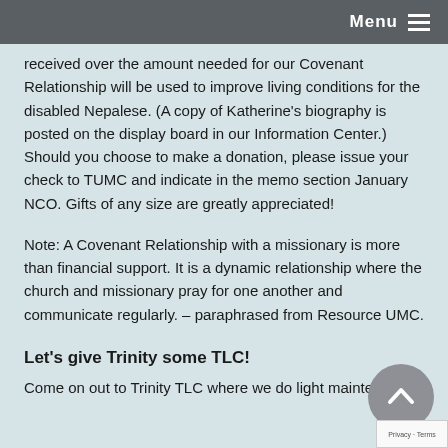Menu ≡
received over the amount needed for our Covenant Relationship will be used to improve living conditions for the disabled Nepalese. (A copy of Katherine's biography is posted on the display board in our Information Center.) Should you choose to make a donation, please issue your check to TUMC and indicate in the memo section January NCO. Gifts of any size are greatly appreciated!
Note: A Covenant Relationship with a missionary is more than financial support. It is a dynamic relationship where the church and missionary pray for one another and communicate regularly. – paraphrased from Resource UMC.
Let's give Trinity some TLC!
Come on out to Trinity TLC where we do light maintenance